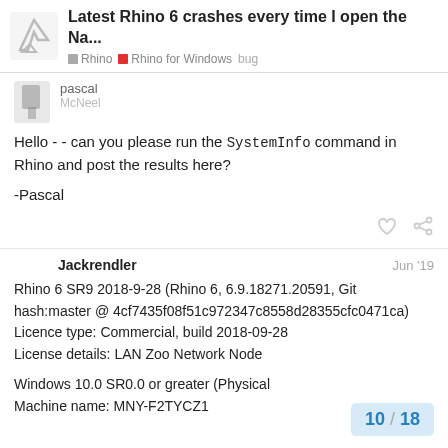Latest Rhino 6 crashes every time I open the Na... | Rhino | Rhino for Windows | bug
pascal
McNeel
Hello - - can you please run the SystemInfo command in Rhino and post the results here?

-Pascal
Jackrendler   Jun '19
Rhino 6 SR9 2018-9-28 (Rhino 6, 6.9.18271.20591, Git hash:master @ 4cf7435f08f51c972347c8558d28355cfc0471ca)
Licence type: Commercial, build 2018-09-28
License details: LAN Zoo Network Node

Windows 10.0 SR0.0 or greater (Physical
Machine name: MNY-F2TYCZ1
10 / 18